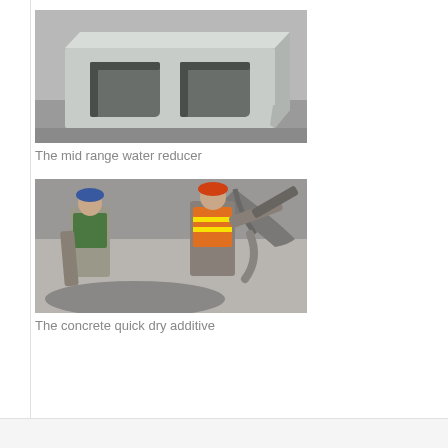[Figure (photo): Photo of a concrete block (cinder block) with two square hollow cores, placed on a rough surface. Black and white / grayscale tones.]
The mid range water reducer
[Figure (photo): Photo of two construction workers in safety vests pouring or spreading concrete/cement from a chute on a construction site.]
The concrete quick dry additive